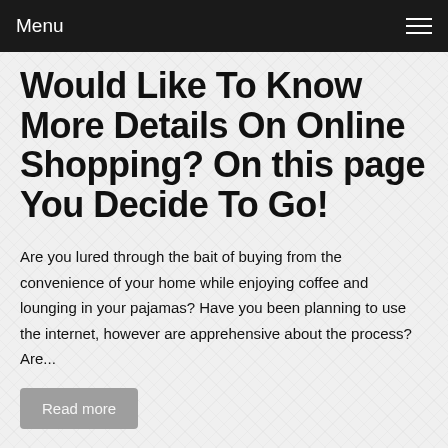Menu
Would Like To Know More Details On Online Shopping? On this page You Decide To Go!
Are you lured through the bait of buying from the convenience of your home while enjoying coffee and lounging in your pajamas? Have you been planning to use the internet, however are apprehensive about the process? Are...
Read more